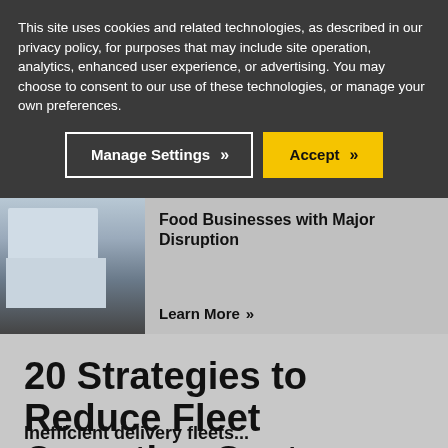This site uses cookies and related technologies, as described in our privacy policy, for purposes that may include site operation, analytics, enhanced user experience, or advertising. You may choose to consent to our use of these technologies, or manage your own preferences.
[Figure (screenshot): Cookie consent banner with two buttons: 'Manage Settings' (dark background with white border) and 'Accept' (yellow background), both with chevron arrows]
[Figure (photo): White delivery van/truck cab photographed from the side, partial view]
Food Businesses with Major Disruption
Learn More »
20 Strategies to Reduce Fleet Operating Costs
Inefficient delivery fleets...